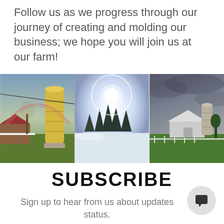Follow us as we progress through our journey of creating and molding our business; we hope you will join us at our farm!
[Figure (photo): Three farm landscape photos side by side: left shows a yellow grain silo with farm buildings and rainbow sky, center shows a bright sundog/halo over snowy pine trees, right shows a barn with silo under dramatic stormy sky.]
SUBSCRIBE
Sign up to hear from us about updates status.